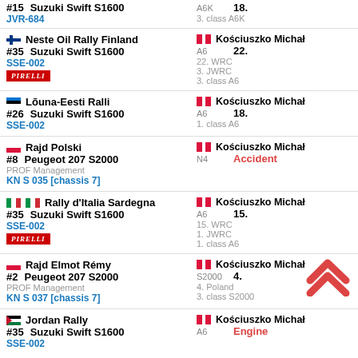#15 Suzuki Swift S1600 JVR-684 | A6K 18. 3. class A6K
Neste Oil Rally Finland #35 Suzuki Swift S1600 SSE-002 PIRELLI | Kościuszko Michał A6 22. 22. WRC 3. JWRC 3. class A6
Lõuna-Eesti Ralli #26 Suzuki Swift S1600 SSE-002 | Kościuszko Michał A6 18. 1. class A6
Rajd Polski #8 Peugeot 207 S2000 PROF Management KN S 035 [chassis 7] | Kościuszko Michał N4 Accident
Rally d'Italia Sardegna #35 Suzuki Swift S1600 SSE-002 PIRELLI | Kościuszko Michał A6 15. 15. WRC 1. JWRC 1. class A6
Rajd Elmot Rémy #2 Peugeot 207 S2000 PROF Management KN S 037 [chassis 7] | Kościuszko Michał S2000 4. 4. Poland 3. class S2000
Jordan Rally #35 Suzuki Swift S1600 SSE-002 | Kościuszko Michał A6 Engine